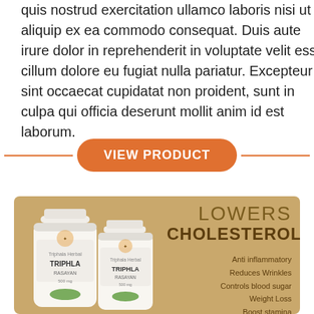quis nostrud exercitation ullamco laboris nisi ut aliquip ex ea commodo consequat. Duis aute irure dolor in reprehenderit in voluptate velit esse cillum dolore eu fugiat nulla pariatur. Excepteur sint occaecat cupidatat non proident, sunt in culpa qui officia deserunt mollit anim id est laborum.
VIEW PRODUCT
[Figure (photo): Product banner with golden/tan background showing two white bottles of TRIPHLA RASAYAN 500mg supplements and text 'LOWERS CHOLESTEROL' with bullet points: Anti inflammatory, Reduces Wrinkles, Controls blood sugar, Weight Loss, Boost stamina, Single Herb Composition]